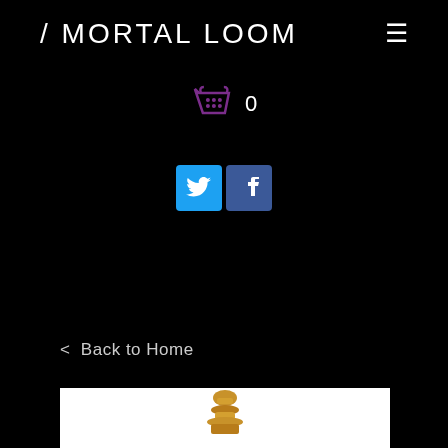/ MORTAL LOOM
[Figure (other): Shopping cart icon with count 0]
[Figure (other): Twitter and Facebook social media icon buttons]
< Back to Home
[Figure (photo): Gold ornamental chess piece or decorative object on white background, showing only the top portion]